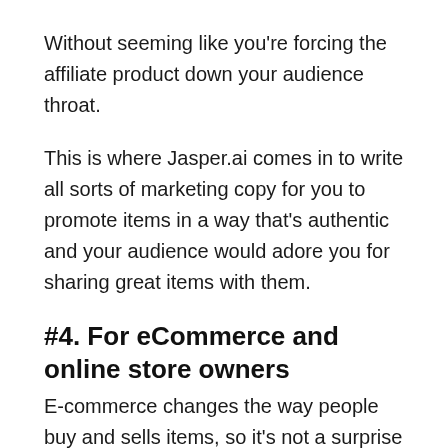Without seeming like you're forcing the affiliate product down your audience throat.
This is where Jasper.ai comes in to write all sorts of marketing copy for you to promote items in a way that's authentic and your audience would adore you for sharing great items with them.
#4. For eCommerce and online store owners
E-commerce changes the way people buy and sells items, so it's not a surprise that working in this space would be tough.